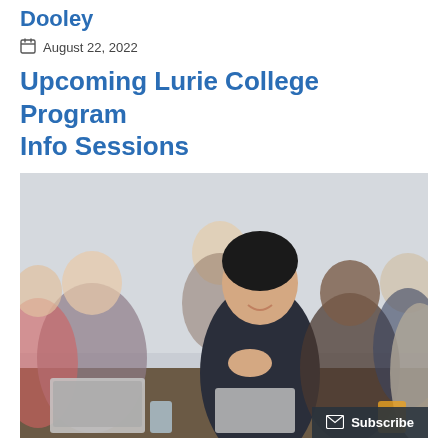Dooley
August 22, 2022
Upcoming Lurie College Program Info Sessions
[Figure (photo): Group of smiling adults seated around a table in a classroom or meeting setting; a woman with dark hair in the center turns to look toward the camera, others visible in the background with laptops and drinks on the table.]